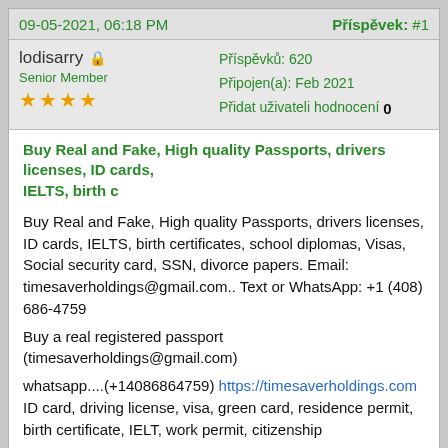09-05-2021, 06:18 PM                            Příspěvek: #1
lodisarry 🔒 Senior Member ★★★★ | Příspěvků: 620 | Připojen(a): Feb 2021 | Přidat uživateli hodnocení 0
Buy Real and Fake, High quality Passports, drivers licenses, ID cards, IELTS, birth c
Buy Real and Fake, High quality Passports, drivers licenses, ID cards, IELTS, birth certificates, school diplomas, Visas, Social security card, SSN, divorce papers. Email: timesaverholdings@gmail.com.. Text or WhatsApp: +1 (408) 686-4759
Buy a real registered passport (timesaverholdings@gmail.com)
whatsapp....(+14086864759) https://timesaverholdings.com ID card, driving license, visa, green card, residence permit, birth certificate, IELT, work permit, citizenship
In the global service, we provide original passports, driving licenses, ID cards, visas, stamps, and real and forged documents for the following countries/regions: (EU countries) the United States, Canada and many other countries. We provide you with one of the best services in the world. Most customers have experienced our real, high-quality service.